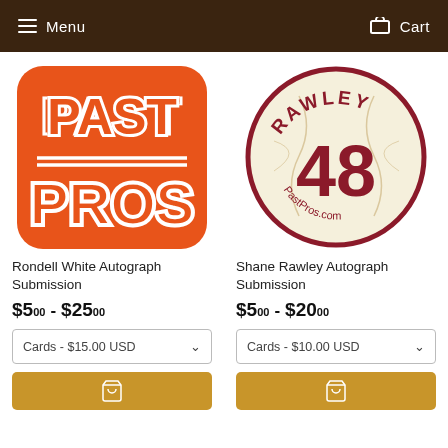Menu   Cart
[Figure (logo): Past Pros orange logo with retro white text]
Rondell White Autograph Submission
$5.00 - $25.00
Cards - $15.00 USD
[Figure (logo): Shane Rawley baseball number 48 circular logo with PastPros.com text]
Shane Rawley Autograph Submission
$5.00 - $20.00
Cards - $10.00 USD